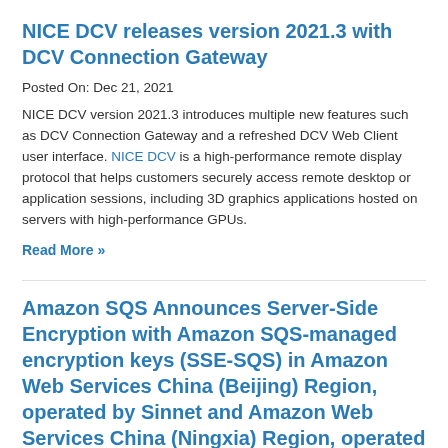NICE DCV releases version 2021.3 with DCV Connection Gateway
Posted On: Dec 21, 2021
NICE DCV version 2021.3 introduces multiple new features such as DCV Connection Gateway and a refreshed DCV Web Client user interface. NICE DCV is a high-performance remote display protocol that helps customers securely access remote desktop or application sessions, including 3D graphics applications hosted on servers with high-performance GPUs.
Read More »
Amazon SQS Announces Server-Side Encryption with Amazon SQS-managed encryption keys (SSE-SQS) in Amazon Web Services China (Beijing) Region, operated by Sinnet and Amazon Web Services China (Ningxia) Region, operated by NWCD